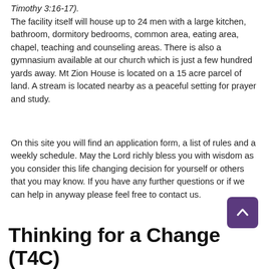Timothy 3:16-17).
The facility itself will house up to 24 men with a large kitchen, bathroom, dormitory bedrooms, common area, eating area, chapel, teaching and counseling areas. There is also a gymnasium available at our church which is just a few hundred yards away. Mt Zion House is located on a 15 acre parcel of land. A stream is located nearby as a peaceful setting for prayer and study.
On this site you will find an application form, a list of rules and a weekly schedule. May the Lord richly bless you with wisdom as you consider this life changing decision for yourself or others that you may know. If you have any further questions or if we can help in anyway please feel free to contact us.
Thinking for a Change (T4C)